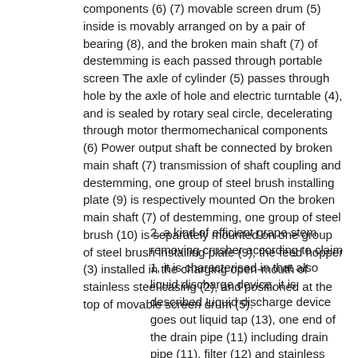components (6) (7) movable screen drum (5) inside is movably arranged on by a pair of bearing (8), and the broken main shaft (7) of destemming is each passed through portable screen The axle of cylinder (5) passes through hole by the axle of hole and electric turntable (4), and is sealed by rotary seal circle, decelerating through motor thermomechanical components (6) Power output shaft be connected by broken main shaft (7) transmission of shaft coupling and destemming, one group of steel brush installing plate (9) is respectively mounted On the broken main shaft (7) of destemming, one group of steel brush (10) is separately mounted on one group of steel brush installing plate (9), the feed hopper (3) installed in the charging open-mouth of stainless steel casing (2), and positioned at the top of movable screen drum (5).
2. a kind of efficient grape stem removing crusher according to claim 1, it is characterised in that also liquid discharge device, it is described Liquid discharge device goes out liquid tap (13), one end of the drain pipe (11) including drain pipe (11), filter (12) and stainless steel Liquid outlet with vertical stainless steel casing (2) is communicated, and the housing of the filter (12) is arranged in frame (1), filter (12) entrance is connected with